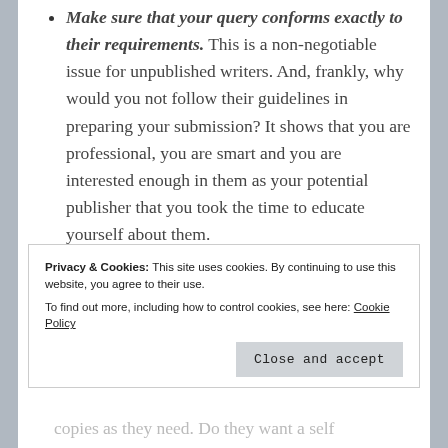Make sure that your query conforms exactly to their requirements. This is a non-negotiable issue for unpublished writers. And, frankly, why would you not follow their guidelines in preparing your submission? It shows that you are professional, you are smart and you are interested enough in them as your potential publisher that you took the time to educate yourself about them.
Submit the query in precisely the method they prefer. Do they accept email
Privacy & Cookies: This site uses cookies. By continuing to use this website, you agree to their use. To find out more, including how to control cookies, see here: Cookie Policy
copies as they need. Do they want a self